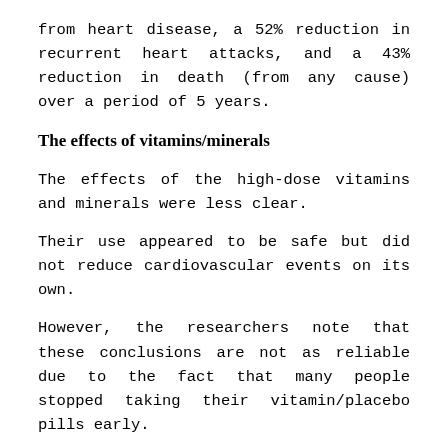from heart disease, a 52% reduction in recurrent heart attacks, and a 43% reduction in death (from any cause) over a period of 5 years.
The effects of vitamins/minerals
The effects of the high-dose vitamins and minerals were less clear.
Their use appeared to be safe but did not reduce cardiovascular events on its own.
However, the researchers note that these conclusions are not as reliable due to the fact that many people stopped taking their vitamin/placebo pills early.
Overall, when all four study groups were compared, the group receiving chelation therapy plus vitamins/minerals showed the fewest cardiovascular